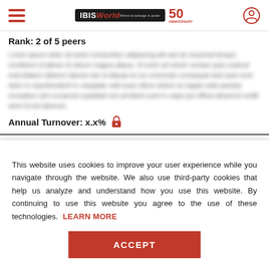IBISWorld 50th Anniversary
Rank: 2 of 5 peers
[blurred/redacted body text]
Annual Turnover: x.x%
This website uses cookies to improve your user experience while you navigate through the website. We also use third-party cookies that help us analyze and understand how you use this website. By continuing to use this website you agree to the use of these technologies. LEARN MORE
ACCEPT